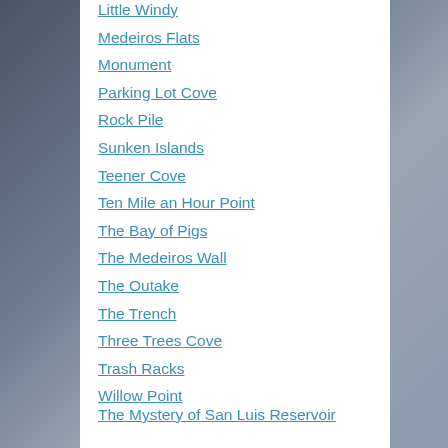Little Windy
Medeiros Flats
Monument
Parking Lot Cove
Rock Pile
Sunken Islands
Teener Cove
Ten Mile an Hour Point
The Bay of Pigs
The Medeiros Wall
The Outake
The Trench
Three Trees Cove
Trash Racks
Willow Point
The Mystery of San Luis Reservoir